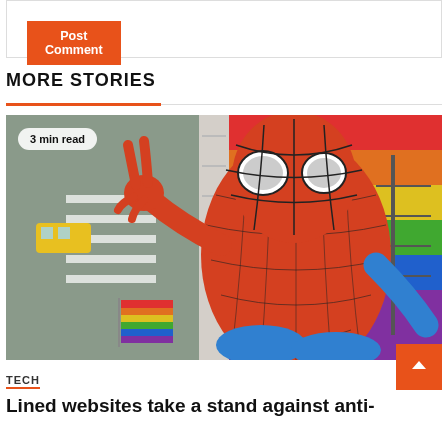Post Comment
MORE STORIES
[Figure (photo): Spider-Man in red and blue costume making a peace sign in front of a rainbow pride flag on a building, with a city street visible below. Badge overlay reads '3 min read'.]
3 min read
TECH
Lined websites take a stand against anti-